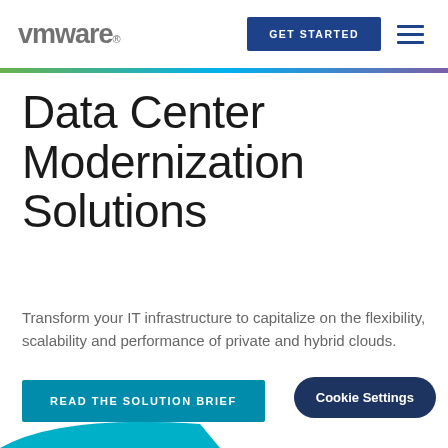[Figure (logo): VMware logo in gray text with registered trademark symbol]
GET STARTED
Data Center Modernization Solutions
Transform your IT infrastructure to capitalize on the flexibility, scalability and performance of private and hybrid clouds.
READ THE SOLUTION BRIEF
Cookie Settings